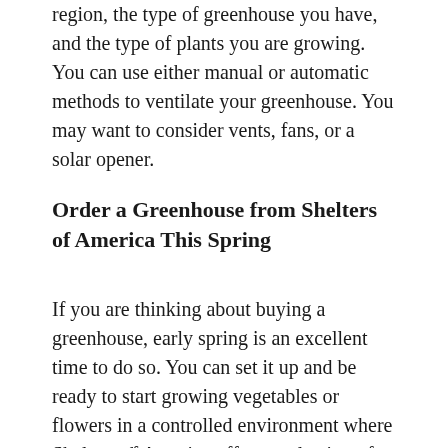region, the type of greenhouse you have, and the type of plants you are growing. You can use either manual or automatic methods to ventilate your greenhouse. You may want to consider vents, fans, or a solar opener.
Order a Greenhouse from Shelters of America This Spring
If you are thinking about buying a greenhouse, early spring is an excellent time to do so. You can set it up and be ready to start growing vegetables or flowers in a controlled environment where they can thrive.
Shelters of America offers a selection of greenhouses in a variety of sizes and styles that you can set up in your yard to enjoy gardening in every